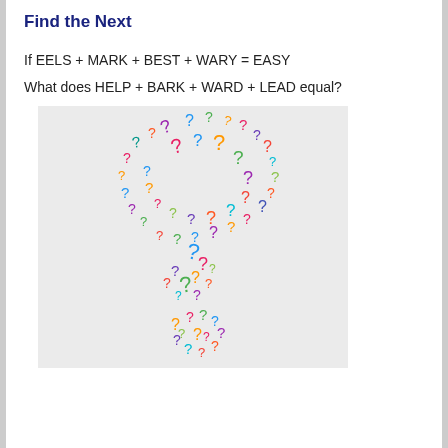Find the Next
If EELS + MARK + BEST + WARY = EASY
What does HELP + BARK + WARD + LEAD equal?
[Figure (illustration): A colorful question mark made up of many smaller multicolored question marks of various sizes, forming the shape of a large question mark (curved top and dot at bottom), representing a puzzle or riddle visual.]